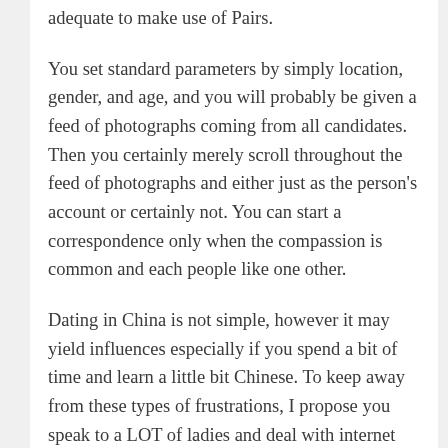adequate to make use of Pairs.
You set standard parameters by simply location, gender, and age, and you will probably be given a feed of photographs coming from all candidates. Then you certainly merely scroll throughout the feed of photographs and either just as the person's account or certainly not. You can start a correspondence only when the compassion is common and each people like one other.
Dating in China is not simple, however it may yield influences especially if you spend a bit of time and learn a little bit Chinese. To keep away from these types of frustrations, I propose you speak to a LOT of ladies and deal with internet dating in China as a figures